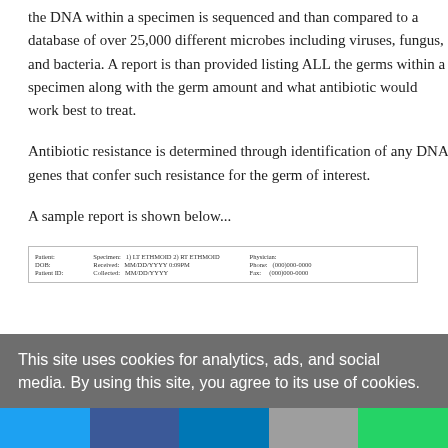the DNA within a specimen is sequenced and than compared to a database of over 25,000 different microbes including viruses, fungus, and bacteria. A report is than provided listing ALL the germs within a specimen along with the germ amount and what antibiotic would work best to treat.
Antibiotic resistance is determined through identification of any DNA genes that confer such resistance for the germ of interest.
A sample report is shown below...
[Figure (screenshot): A sample medical report header showing Patient, DOB, Patient ID fields on left; Specimen (1) LT ETHMOID 2) RT ETHMOID), Received MMDDY/YYY 0:09PM, Collected MM/DD/YYYY in center; Physician, Phone (000)000-0000, Fax (000)000-0000 on right.]
This site uses cookies for analytics, ads, and social media. By using this site, you agree to its use of cookies.